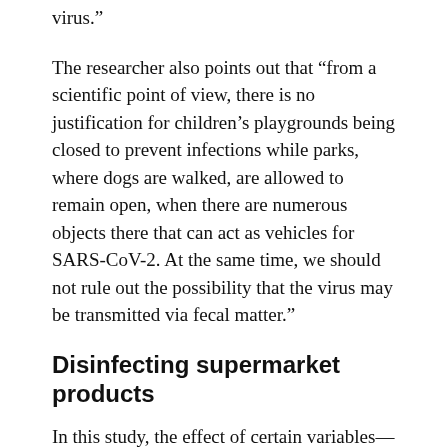virus.”
The researcher also points out that “from a scientific point of view, there is no justification for children’s playgrounds being closed to prevent infections while parks, where dogs are walked, are allowed to remain open, when there are numerous objects there that can act as vehicles for SARS-CoV-2. At the same time, we should not rule out the possibility that the virus may be transmitted via fecal matter.”
Disinfecting supermarket products
In this study, the effect of certain variables—gender, age, educational level, type of residence, size of household, cohabitation with children or adolescents, the presence of workers among the household members, the presence of domestic workers in the home during lockdown, or having